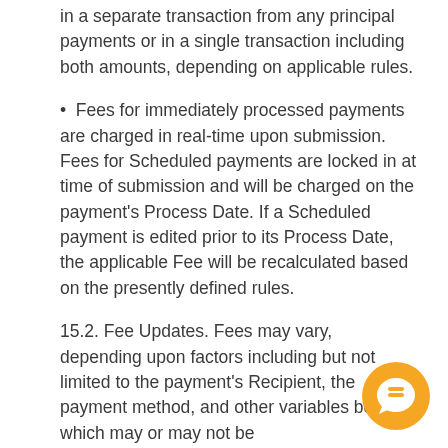in a separate transaction from any principal payments or in a single transaction including both amounts, depending on applicable rules.
Fees for immediately processed payments are charged in real-time upon submission. Fees for Scheduled payments are locked in at time of submission and will be charged on the payment's Process Date. If a Scheduled payment is edited prior to its Process Date, the applicable Fee will be recalculated based on the presently defined rules.
15.2. Fee Updates. Fees may vary, depending upon factors including but not limited to the payment's Recipient, the payment method, and other variables both which may or may not be